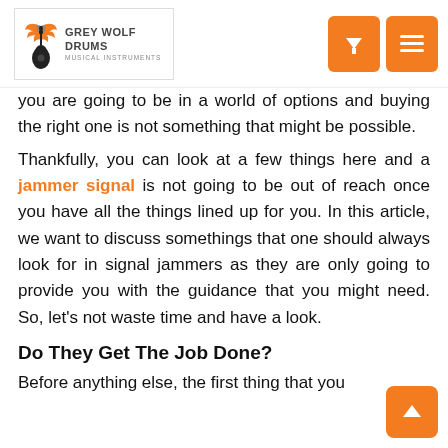Grey Wolf Drums - Musical Instruments
you are going to be in a world of options and buying the right one is not something that might be possible.
Thankfully, you can look at a few things here and a jammer signal is not going to be out of reach once you have all the things lined up for you. In this article, we want to discuss somethings that one should always look for in signal jammers as they are only going to provide you with the guidance that you might need. So, let's not waste time and have a look.
Do They Get The Job Done?
Before anything else, the first thing that you